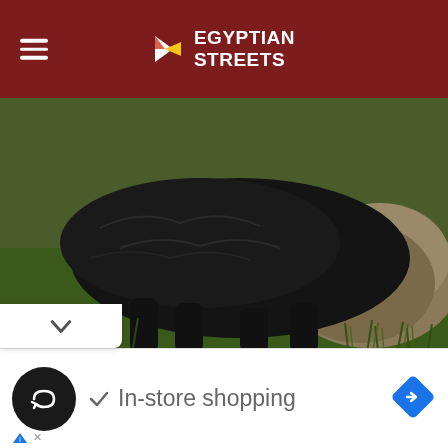Egyptian Streets
[Figure (photo): Close-up photo of a large black animal (described as a 'dog') standing on green grass next to a large rock or mound of dirt, outdoors.]
Family Thought They Adopted A 'Dog', But When The Vet Sees It He Calls The Police
Highly-Healthy
[Figure (photo): Partial photo showing a beige/tan textured stone wall with a dark metal ring or hook attached to it.]
[Figure (screenshot): Mobile advertisement bar showing a black circular icon with a loop/infinity arrow symbol, a checkmark, the text 'In-store shopping', and a blue navigation diamond arrow icon on the right. Below are ad disclosure icons.]